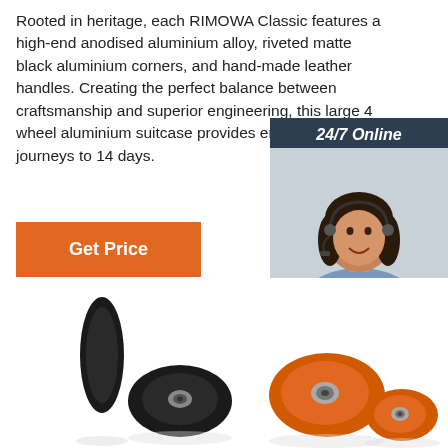Rooted in heritage, each RIMOWA Classic features a high-end anodised aluminium alloy, riveted matte black aluminium corners, and hand-made leather handles. Creating the perfect balance between craftsmanship and superior engineering, this large 4 wheel aluminium suitcase provides enough room for journeys up to 14 days.
Get Price
[Figure (infographic): 24/7 Online chat widget with a woman wearing a headset, dark blue background, with 'Click here for free chat!' text and an orange QUOTATION button]
[Figure (photo): Product photo showing black and orange luggage wheels/casters against a white background]